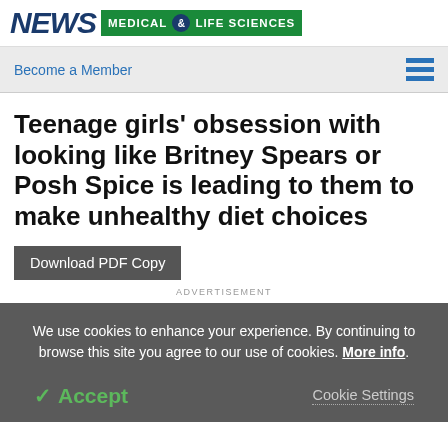NEWS MEDICAL & LIFE SCIENCES
Become a Member
Teenage girls' obsession with looking like Britney Spears or Posh Spice is leading to them to make unhealthy diet choices
Download PDF Copy
ADVERTISEMENT
We use cookies to enhance your experience. By continuing to browse this site you agree to our use of cookies. More info.
✓ Accept
Cookie Settings